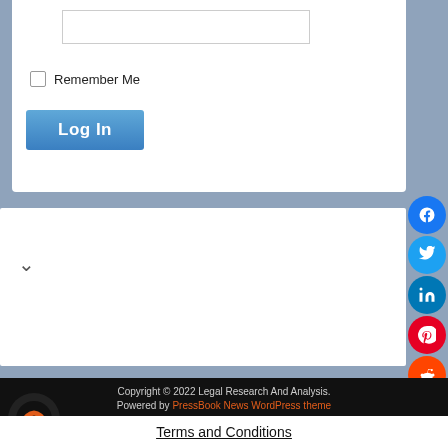[Figure (screenshot): Login form input box, partially visible at top of page]
Remember Me
[Figure (screenshot): Log In button, blue gradient]
Inside the Congressional Black Caucus's plan to defend the first Black woman nominated to th...
Covering SCOTUS
Copyright © 2022 Legal Research And Analysis. Powered by PressBook News WordPress theme
Terms and Conditions